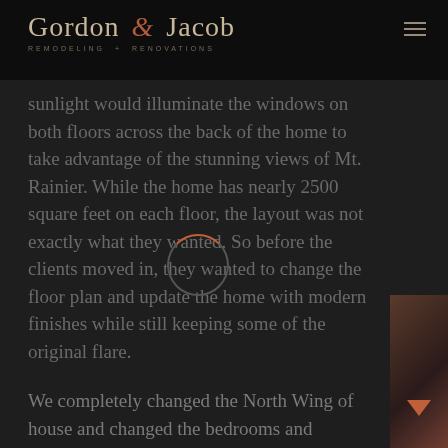Gordon & Jacob — REMODELING + RENOVATIONS
…sunlight would illuminate the windows on both floors across the back of the home to take advantage of the stunning views of Mt. Rainier. While the home has nearly 2500 square feet on each floor, the layout was not exactly what they wanted. So before the clients moved in, they wanted to change the floor plan and update the home with modern finishes while still keeping some of the original flare.
We completely changed the North Wing of house and changed the bedrooms and…